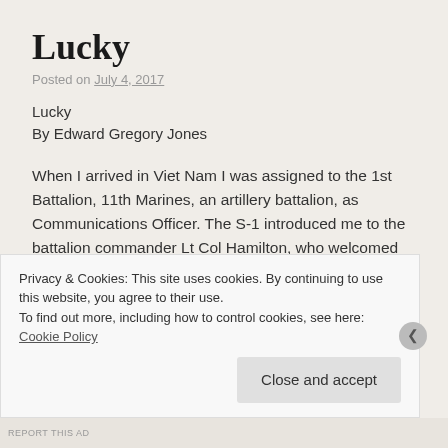Lucky
Posted on July 4, 2017
Lucky
By Edward Gregory Jones
When I arrived in Viet Nam I was assigned to the 1st Battalion, 11th Marines, an artillery battalion, as Communications Officer. The S-1 introduced me to the battalion commander Lt Col Hamilton, who welcomed me aboard. He told me that my predecessor had been KIA, but that Gunny Peschek would fill me in. 1/11 was situated on Hill 34, about 30 clicks southwest of Da Nang. This low slung hill, covered in bare red dirt like a week old pimple, was surrounded by fields of shimmering verdant green rice paddies. To the south, the
Privacy & Cookies: This site uses cookies. By continuing to use this website, you agree to their use.
To find out more, including how to control cookies, see here: Cookie Policy
REPORT THIS AD